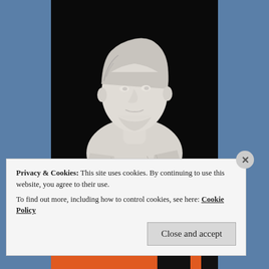[Figure (photo): A white marble classical bust sculpture of a man with short curly hair, draped in Roman-style robes, photographed against a black background.]
Privacy & Cookies: This site uses cookies. By continuing to use this website, you agree to their use. To find out more, including how to control cookies, see here: Cookie Policy